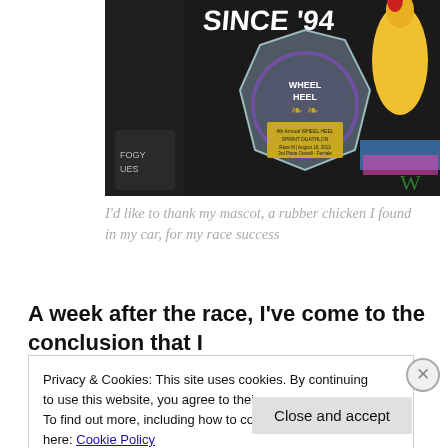[Figure (photo): Photo of a Wheel to Wheel Sprint Duathlon trophy (crystal award with purple trim and laurel wreath design) placed on a dark background with fabric items including what appears to be a yellow/orange rubber chicken visible on the right side.]
I'd like to thank my mascot, a rubber chicken I found in my car, for my race success
A week after the race, I've come to the conclusion that I
Privacy & Cookies: This site uses cookies. By continuing to use this website, you agree to their use.
To find out more, including how to control cookies, see here: Cookie Policy
Close and accept